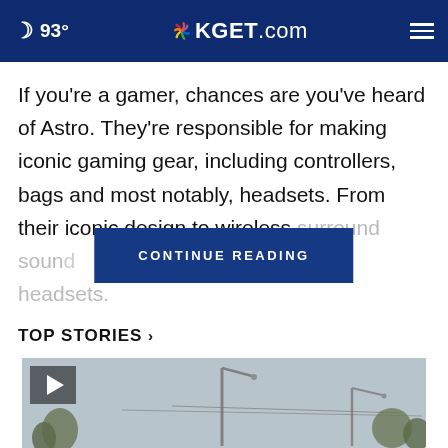93° KGET.com
If you're a gamer, chances are you've heard of Astro. They're responsible for making iconic gaming gear, including controllers, bags and most notably, headsets. From their iconic design to wireless surround soun... out these headsets.
CONTINUE READING
TOP STORIES ›
[Figure (photo): Street scene with lamp posts and trees under overcast sky, with a video play button overlay]